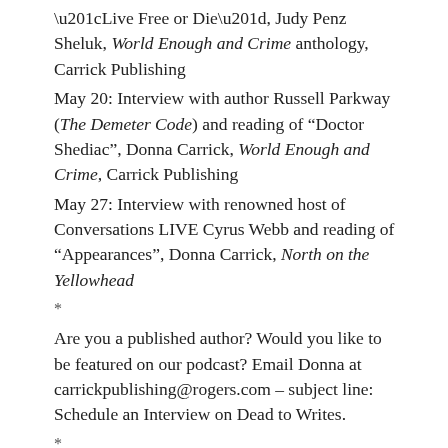“Live Free or Die”, Judy Penz Sheluk, World Enough and Crime anthology, Carrick Publishing
May 20: Interview with author Russell Parkway (The Demeter Code) and reading of “Doctor Shediac”, Donna Carrick, World Enough and Crime, Carrick Publishing
May 27: Interview with renowned host of Conversations LIVE Cyrus Webb and reading of “Appearances”, Donna Carrick, North on the Yellowhead
*
Are you a published author? Would you like to be featured on our podcast? Email Donna at carrickpublishing@rogers.com – subject line: Schedule an Interview on Dead to Writes.
*
Do you have a question about writing or the book industry? Visit our Dead to Writes Facebook page and post your question. Donna will be sure to raise it with our featured author.